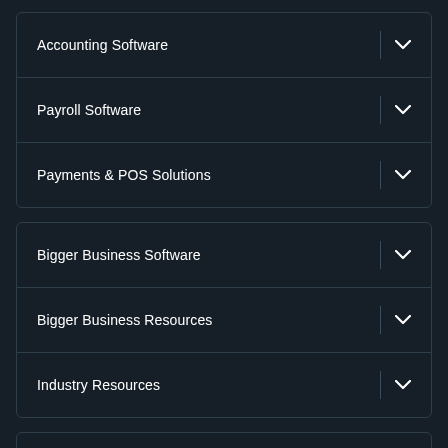Accounting Software
Payroll Software
Payments & POS Solutions
Bigger Business Software
Bigger Business Resources
Industry Resources
Accountants & Partners